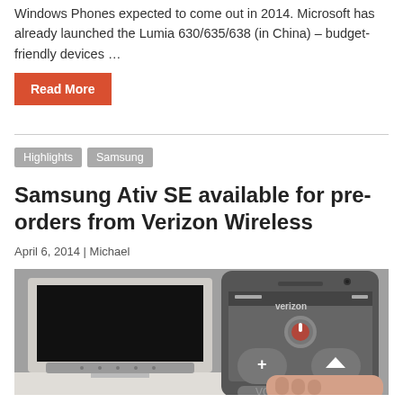Windows Phones expected to come out in 2014. Microsoft has already launched the Lumia 630/635/638 (in China) – budget-friendly devices …
Read More
Highlights
Samsung
Samsung Ativ SE available for pre-orders from Verizon Wireless
April 6, 2014 | Michael
[Figure (photo): Samsung Ativ SE smartphone being used as a remote control, shown alongside a flat-screen TV mounted on a wall. A hand holds the phone displaying a remote control interface with volume and channel buttons. The Verizon logo is visible on the phone.]
Verizon Wireless has started taking pre-orders for